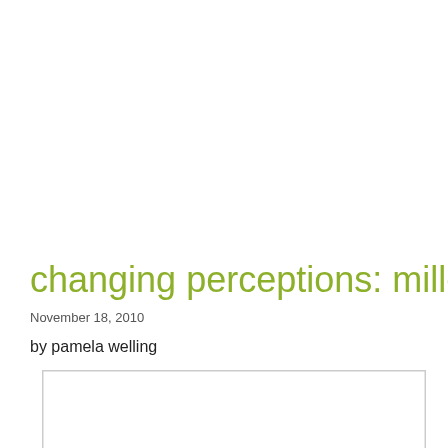changing perceptions: millenials and the
November 18, 2010
by pamela welling
[Figure (other): White rectangle with light gray border, appearing to be a placeholder image or content box]